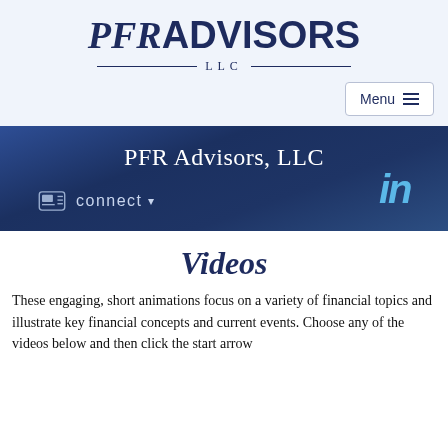[Figure (logo): PFR Advisors LLC logo with serif italic PFR and sans-serif ADVISORS text, underlined with LLC centered below between horizontal rules]
Menu
PFR Advisors, LLC
connect
[Figure (logo): LinkedIn 'in' icon in blue]
Videos
These engaging, short animations focus on a variety of financial topics and illustrate key financial concepts and current events. Choose any of the videos below and then click the start arrow.